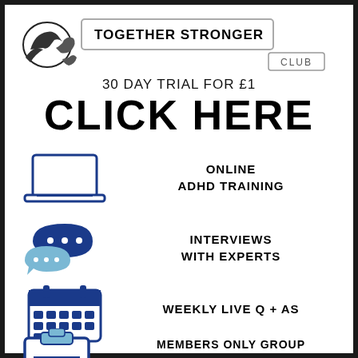[Figure (logo): Together Stronger Club logo with handshake icon and bordered text badge]
30 DAY TRIAL FOR £1
CLICK HERE
[Figure (illustration): Laptop computer icon (blue outline)]
ONLINE ADHD TRAINING
[Figure (illustration): Chat bubbles icon (dark blue and light blue)]
INTERVIEWS WITH EXPERTS
[Figure (illustration): Calendar icon (blue)]
WEEKLY LIVE Q + As
[Figure (illustration): Clipboard with lines icon (blue)]
EXCLUSIVE RESOURCES
[Figure (illustration): Facebook icon (blue rounded square with f)]
MEMBERS ONLY GROUP